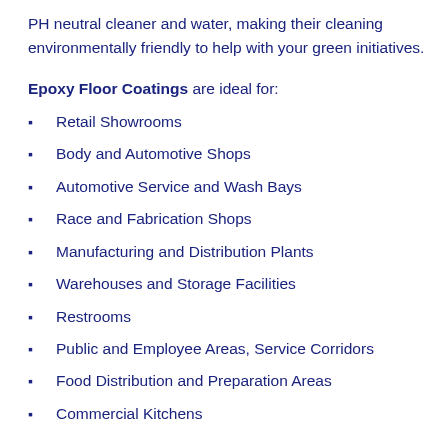PH neutral cleaner and water, making their cleaning environmentally friendly to help with your green initiatives.
Epoxy Floor Coatings are ideal for:
Retail Showrooms
Body and Automotive Shops
Automotive Service and Wash Bays
Race and Fabrication Shops
Manufacturing and Distribution Plants
Warehouses and Storage Facilities
Restrooms
Public and Employee Areas, Service Corridors
Food Distribution and Preparation Areas
Commercial Kitchens